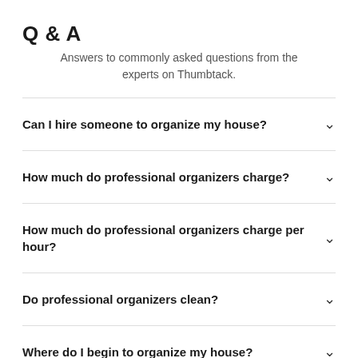Q & A
Answers to commonly asked questions from the experts on Thumbtack.
Can I hire someone to organize my house?
How much do professional organizers charge?
How much do professional organizers charge per hour?
Do professional organizers clean?
Where do I begin to organize my house?